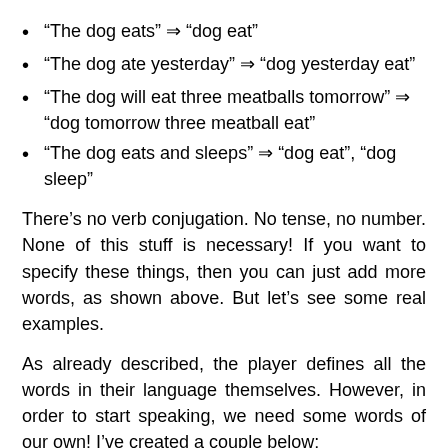“The dog eats” ⇒ “dog eat”
“The dog ate yesterday” ⇒ “dog yesterday eat”
“The dog will eat three meatballs tomorrow” ⇒ “dog tomorrow three meatball eat”
“The dog eats and sleeps” ⇒ “dog eat”, “dog sleep”
There’s no verb conjugation. No tense, no number. None of this stuff is necessary! If you want to specify these things, then you can just add more words, as shown above. But let’s see some real examples.
As already described, the player defines all the words in their language themselves. However, in order to start speaking, we need some words of our own! I’ve created a couple below:
saku   :   “soul” or “person”